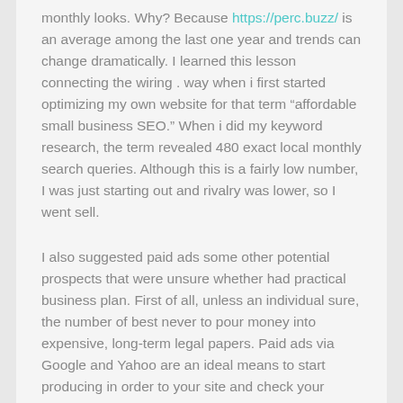monthly looks. Why? Because https://perc.buzz/ is an average among the last one year and trends can change dramatically. I learned this lesson connecting the wiring . way when i first started optimizing my own website for that term “afffordable small business SEO.” When i did my keyword research, the term revealed 480 exact local monthly search queries. Although this is a fairly low number, I was just starting out and rivalry was lower, so I went sell.
I also suggested paid ads some other potential prospects that were unsure whether had practical business plan. First of all, unless an individual sure, the number of best never to pour money into expensive, long-term legal papers. Paid ads via Google and Yahoo are an ideal means to start producing in order to your site and check your business (and website) works. If not, customize the model or pack it in